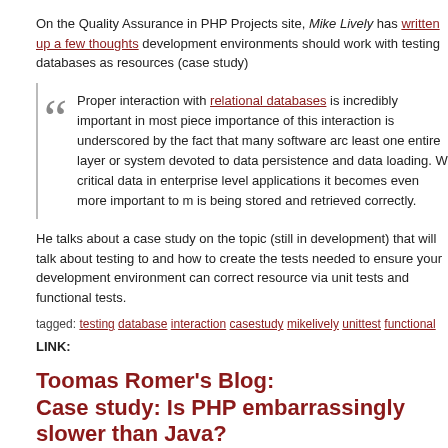On the Quality Assurance in PHP Projects site, Mike Lively has written up a few thoughts development environments should work with testing databases as resources (case study)
Proper interaction with relational databases is incredibly important in most pieces importance of this interaction is underscored by the fact that many software arc least one entire layer or system devoted to data persistence and data loading. critical data in enterprise level applications it becomes even more important to r is being stored and retrieved correctly.
He talks about a case study on the topic (still in development) that will talk about testing t and how to create the tests needed to ensure your development environment can correc resource via unit tests and functional tests.
tagged: testing database interaction casestudy mikelively unittest functional
LINK:
Toomas Romer's Blog:
Case study: Is PHP embarrassingly slower than Java?
byChris Cornutt AUG 04, 2008 @ 17:02:05
In a case study posted to his blog, Toomas Romer wonders if a PHP script is embarrassin Java counterpart.